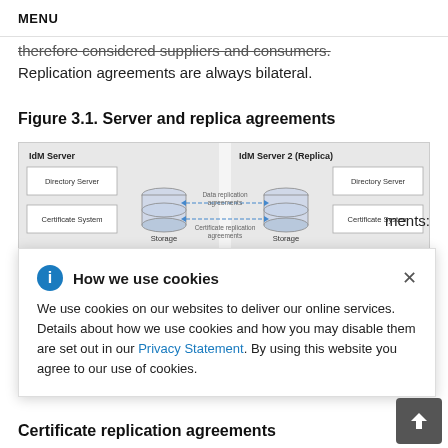MENU
therefore considered suppliers and consumers. Replication agreements are always bilateral.
Figure 3.1. Server and replica agreements
[Figure (engineering-diagram): Diagram showing IdM Server on left with Directory Server and Certificate System boxes connected to a Storage cylinder, and IdM Server 2 (Replica) on right with matching components. Bidirectional dashed arrows labeled 'Data replication agreements' and 'Certificate replication agreements' connect the two Storage cylinders.]
How we use cookies
We use cookies on our websites to deliver our online services. Details about how we use cookies and how you may disable them are set out in our Privacy Statement. By using this website you agree to our use of cookies.
Certificate replication agreements